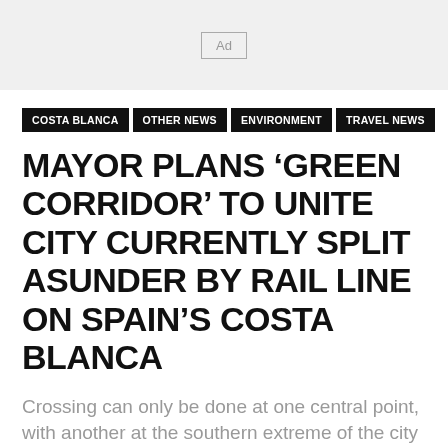[Figure (other): Ad banner placeholder with 'Ad' label in a bordered box on a light grey background]
COSTA BLANCA
OTHER NEWS
ENVIRONMENT
TRAVEL NEWS
MAYOR PLANS 'GREEN CORRIDOR' TO UNITE CITY CURRENTLY SPLIT ASUNDER BY RAIL LINE ON SPAIN'S COSTA BLANCA
Crossing can only be done at one central point, with another at the southern extreme of the city